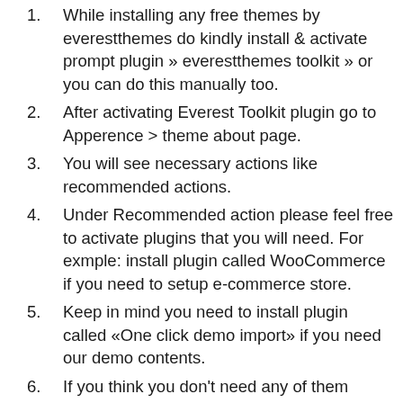While installing any free themes by everestthemes do kindly install & activate prompt plugin » everestthemes toolkit » or you can do this manually too.
After activating Everest Toolkit plugin go to Apperence > theme about page.
You will see necessary actions like recommended actions.
Under Recommended action please feel free to activate plugins that you will need. For exmple: install plugin called WooCommerce if you need to setup e-commerce store.
Keep in mind you need to install plugin called «One click demo import» if you need our demo contents.
If you think you don't need any of them ignore that recommended action.
If you need demo contents, you should have